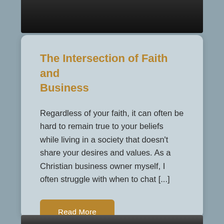[Figure (photo): Dark wood or surface image strip at the top of the card]
The Intersection of Faith and Business
Regardless of your faith, it can often be hard to remain true to your beliefs while living in a society that doesn't share your desires and values. As a Christian business owner myself, I often struggle with when to chat [...]
Read More
[Figure (photo): Partial dark image strip at the bottom of the page]